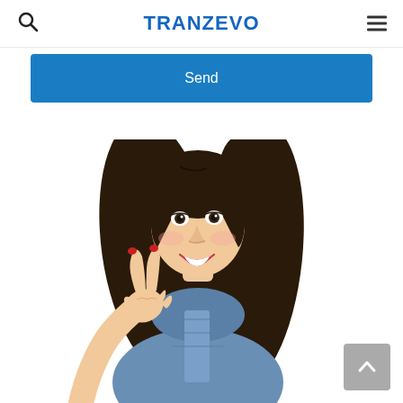TRANZEVO
Send
[Figure (photo): Young smiling woman with long dark hair wearing a denim shirt, making a peace/victory sign with her hand, white background]